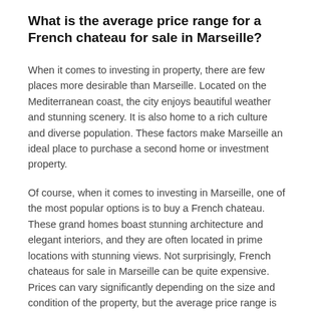What is the average price range for a French chateau for sale in Marseille?
When it comes to investing in property, there are few places more desirable than Marseille. Located on the Mediterranean coast, the city enjoys beautiful weather and stunning scenery. It is also home to a rich culture and diverse population. These factors make Marseille an ideal place to purchase a second home or investment property.
Of course, when it comes to investing in Marseille, one of the most popular options is to buy a French chateau. These grand homes boast stunning architecture and elegant interiors, and they are often located in prime locations with stunning views. Not surprisingly, French chateaus for sale in Marseille can be quite expensive. Prices can vary significantly depending on the size and condition of the property, but the average price range is between 2 million and 5 million euros. Of course,